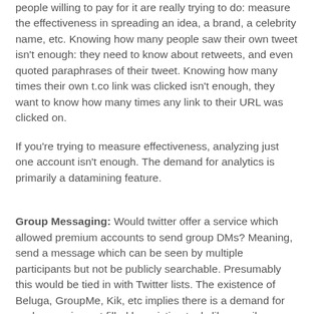people willing to pay for it are really trying to do: measure the effectiveness in spreading an idea, a brand, a celebrity name, etc. Knowing how many people saw their own tweet isn't enough: they need to know about retweets, and even quoted paraphrases of their tweet. Knowing how many times their own t.co link was clicked isn't enough, they want to know how many times any link to their URL was clicked on.
If you're trying to measure effectiveness, analyzing just one account isn't enough. The demand for analytics is primarily a datamining feature.
Group Messaging: Would twitter offer a service which allowed premium accounts to send group DMs? Meaning, send a message which can be seen by multiple participants but not be publicly searchable. Presumably this would be tied in with Twitter lists. The existence of Beluga, GroupMe, Kik, etc implies there is a demand for such a service not filled by existing tools like email.
In terms of Twitter's business, the downside of a group messaging facility is that it reduces the value of the